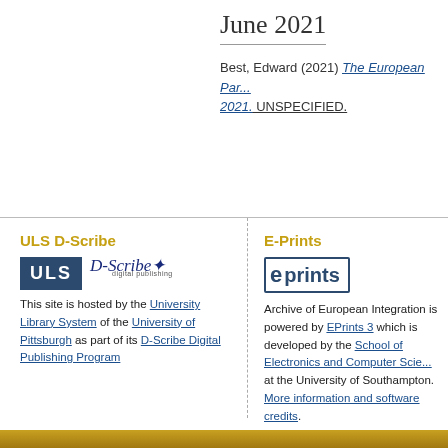June 2021
Best, Edward (2021) The European Par... 2021. UNSPECIFIED.
ULS D-Scribe
[Figure (logo): ULS and D-Scribe Digital Publishing logos]
This site is hosted by the University Library System of the University of Pittsburgh as part of its D-Scribe Digital Publishing Program
E-Prints
[Figure (logo): EPrints logo]
Archive of European Integration is powered by EPrints 3 which is developed by the School of Electronics and Computer Science at the University of Southampton. More information and software credits.